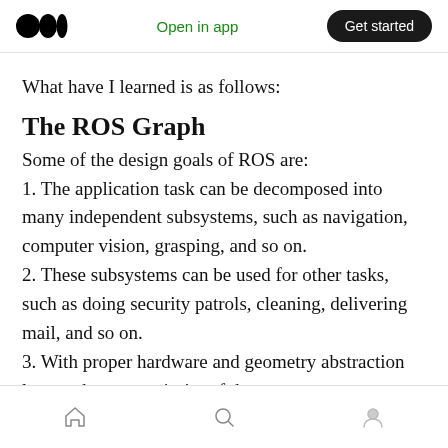Open in app | Get started
What have I learned is as follows:
The ROS Graph
Some of the design goals of ROS are:
1. The application task can be decomposed into many independent subsystems, such as navigation, computer vision, grasping, and so on.
2. These subsystems can be used for other tasks, such as doing security patrols, cleaning, delivering mail, and so on.
3. With proper hardware and geometry abstraction layers, the vast majority of the
Home | Search | Profile